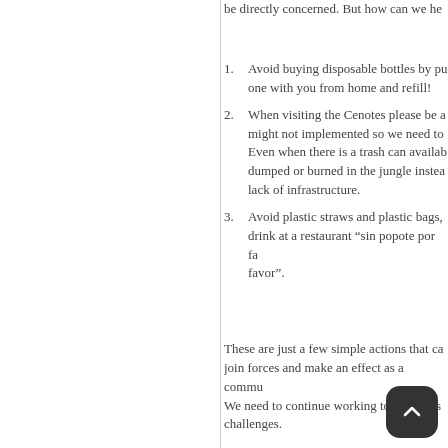be directly concerned. But how can we he
Avoid buying disposable bottles by pu one with you from home and refill!
When visiting the Cenotes please be a might not implemented so we need to Even when there is a trash can availab dumped or burned in the jungle instea lack of infrastructure.
Avoid plastic straws and plastic bags, drink at a restaurant “sin popote por fa favor”.
These are just a few simple actions that ca join forces and make an effect as a commu We need to continue working towards sus challenges.